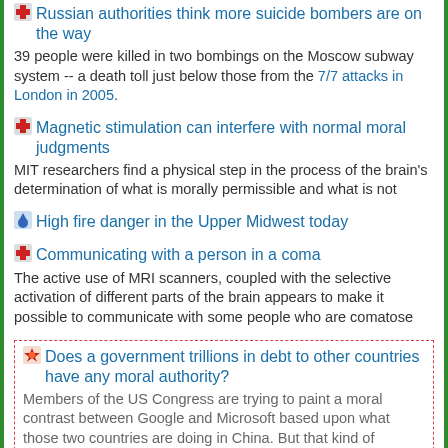Russian authorities think more suicide bombers are on the way — 39 people were killed in two bombings on the Moscow subway system -- a death toll just below those from the 7/7 attacks in London in 2005.
Magnetic stimulation can interfere with normal moral judgments — MIT researchers find a physical step in the process of the brain's determination of what is morally permissible and what is not
High fire danger in the Upper Midwest today
Communicating with a person in a coma — The active use of MRI scanners, coupled with the selective activation of different parts of the brain appears to make it possible to communicate with some people who are comatose
Does a government trillions in debt to other countries have any moral authority? — Members of the US Congress are trying to paint a moral contrast between Google and Microsoft based upon what those two countries are doing in China. But that kind of